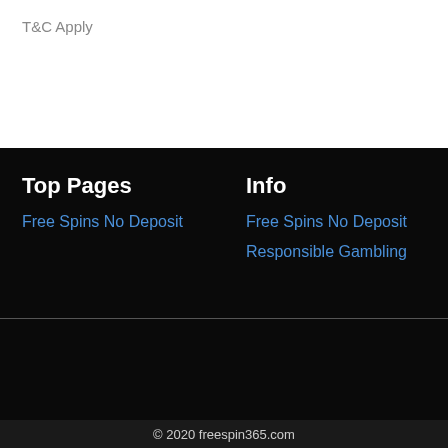T&C Apply
Top Pages
Free Spins No Deposit
Info
Free Spins No Deposit
Responsible Gambling
[Figure (logo): 18+ age restriction badge circle, GamCare logo with G icon, BeGambleAware.org logo]
© 2020 freespin365.com